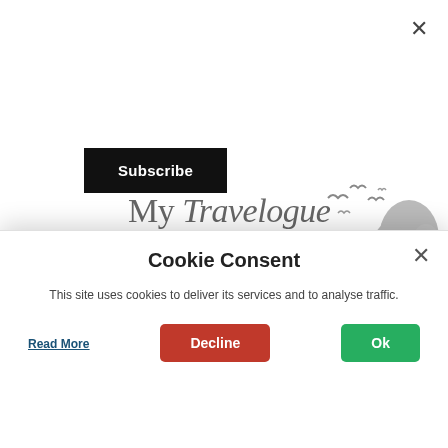[Figure (screenshot): Website screenshot of 'My Travelogue - Fluttering and Wandering!' travel blog with Subscribe button and close X, showing a banner with the blog title, silhouette of birds and tree, stats bar with 2020/0 and comment icon, and a cookie consent dialog overlay with Decline and Ok buttons.]
My Travelogue
Fluttering and Wandering!
A Travel Blog on the lesser known places and roads less travelled
2020
0
SCHRODERHOIS & MORE
Cookie Consent
This site uses cookies to deliver its services and to analyse traffic.
Read More
Decline
Ok